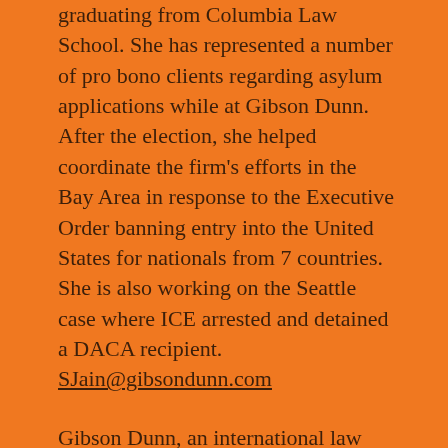graduating from Columbia Law School.  She has represented a number of pro bono clients regarding asylum applications while at Gibson Dunn.  After the election, she helped coordinate the firm's efforts in the Bay Area in response to the Executive Order banning entry into the United States for nationals from 7 countries.   She is also working on the Seattle case where ICE arrested and detained a DACA recipient.  SJain@gibsondunn.com
Gibson Dunn, an international law firm with more than 1,200 lawyers in 19 offices all over the world, is proud to partner with many of our clients working to provide immigrants with access to pro bono legal assistance, thereby assuring access to the justice system for a large, vulnerable segment of our communities.  These partnerships have taken many different forms, but often involve setting up full-day